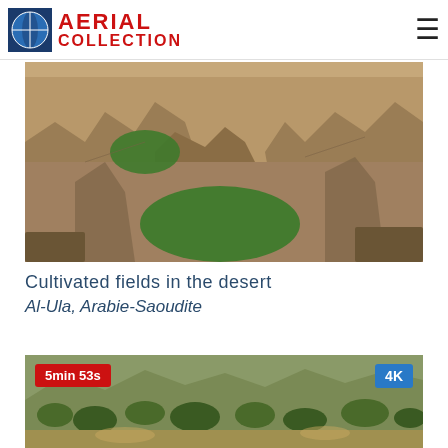AERIAL COLLECTION
[Figure (photo): Aerial view of cultivated circular fields in a desert rocky landscape, Al-Ula, Saudi Arabia. Green oval/circular irrigated fields surrounded by tan and brown sandstone rock formations.]
Cultivated fields in the desert
Al-Ula, Arabie-Saoudite
[Figure (photo): Aerial photo of a green savanna or shrub landscape with rocky terrain, partial view, with a red badge showing '5min 53s' and a blue '4K' badge overlay.]